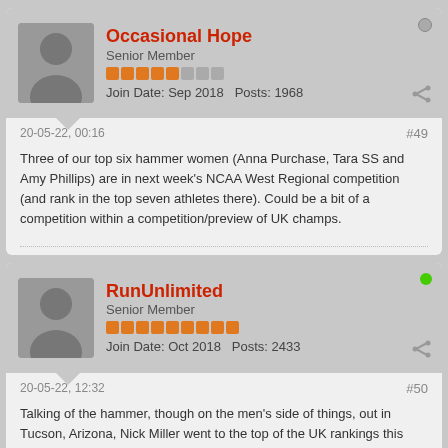Occasional Hope
Senior Member
Join Date: Sep 2018   Posts: 1968
20-05-22, 00:16
#49
Three of our top six hammer women (Anna Purchase, Tara SS and Amy Phillips) are in next week's NCAA West Regional competition (and rank in the top seven athletes there). Could be a bit of a competition within a competition/preview of UK champs.
RunUnlimited
Senior Member
Join Date: Oct 2018   Posts: 2433
20-05-22, 12:32
#50
Talking of the hammer, though on the men's side of things, out in Tucson, Arizona, Nick Miller went to the top of the UK rankings this year with a 75.61m effort, while Joe Ellis improved his PB for second time this season, with a 74.52m heave.